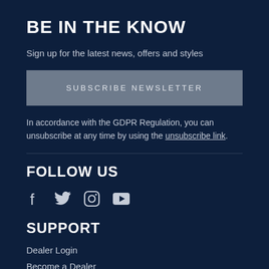BE IN THE KNOW
Sign up for the latest news, offers and styles
SUBSCRIBE NEWSLETTER
In accordance with the GDPR Regulation, you can unsubscribe at any time by using the unsubscribe link.
FOLLOW US
[Figure (infographic): Social media icons: Facebook, Twitter, Instagram, YouTube]
SUPPORT
Dealer Login
Become a Dealer
Privacy Poli...